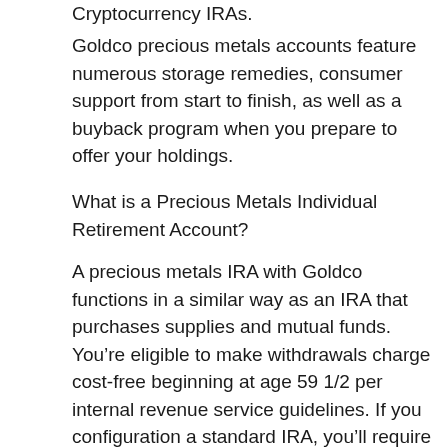Cryptocurrency IRAs.
Goldco precious metals accounts feature numerous storage remedies, consumer support from start to finish, as well as a buyback program when you prepare to offer your holdings.
What is a Precious Metals Individual Retirement Account?
A precious metals IRA with Goldco functions in a similar way as an IRA that purchases supplies and mutual funds. You’re eligible to make withdrawals charge cost-free beginning at age 59 1/2 per internal revenue service guidelines. If you configuration a standard IRA, you’ll require to begin making withdrawals by the age of 72.